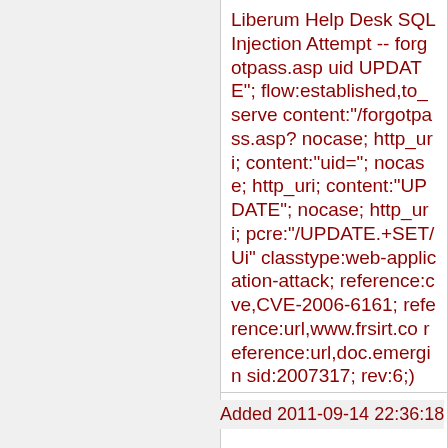Liberum Help Desk SQL Injection Attempt -- forgotpass.asp uid UPDATE"; flow:established,to_server; content:"/forgotpass.asp? nocase; http_uri; content:"uid="; nocase; http_uri; content:"UPDATE"; nocase; http_uri; pcre:"/UPDATE.+SET/Ui" classtype:web-application-attack; reference:cve,CVE-2006-6161; reference:url,www.frsirt.co reference:url,doc.emergin sid:2007317; rev:6;)
Added 2011-09-14 22:36:18